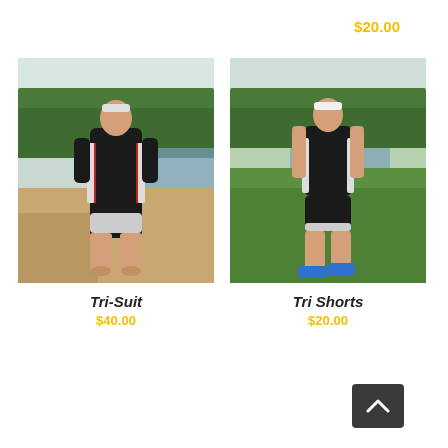$20.00
[Figure (photo): Man wearing a black and white triathlon suit standing outdoors near a sandy beach area with trees and water in the background.]
[Figure (photo): Man wearing black tri shorts with a white tank top standing on green grass outdoors with a pond and trees behind him, wearing blue shoes.]
Tri-Suit
$40.00
Tri Shorts
$20.00